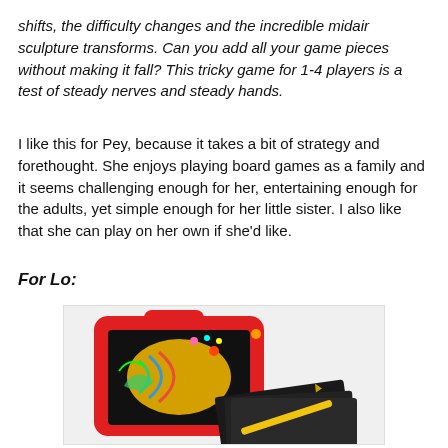shifts, the difficulty changes and the incredible midair sculpture transforms. Can you add all your game pieces without making it fall? This tricky game for 1-4 players is a test of steady nerves and steady hands.
I like this for Pey, because it takes a bit of strategy and forethought. She enjoys playing board games as a family and it seems challenging enough for her, entertaining enough for the adults, yet simple enough for her little sister. I also like that she can play on her own if she'd like.
For Lo:
[Figure (photo): A red tablet-style scratch art board/toy with a colorful scratch art display showing a fish design, alongside black scratch art papers and a yellow stylus tool.]